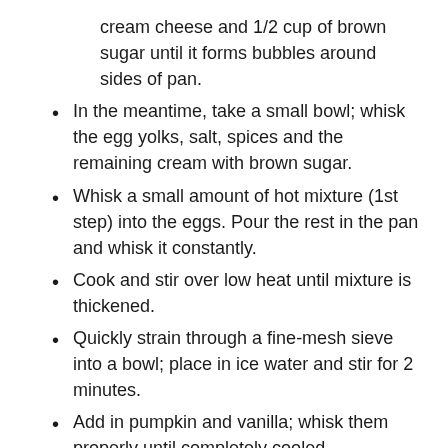cream cheese and 1/2 cup of brown sugar until it forms bubbles around sides of pan.
In the meantime, take a small bowl; whisk the egg yolks, salt, spices and the remaining cream with brown sugar.
Whisk a small amount of hot mixture (1st step) into the eggs. Pour the rest in the pan and whisk it constantly.
Cook and stir over low heat until mixture is thickened.
Quickly strain through a fine-mesh sieve into a bowl; place in ice water and stir for 2 minutes.
Add in pumpkin and vanilla; whisk them properly until completely cooled.
Keep it in the freezer for 2 hours and again mix it nicely and freeze it again for overnight.
Next day check the ice cream it can be scooped or not. If it's not set properly again pulse the ice cream with the